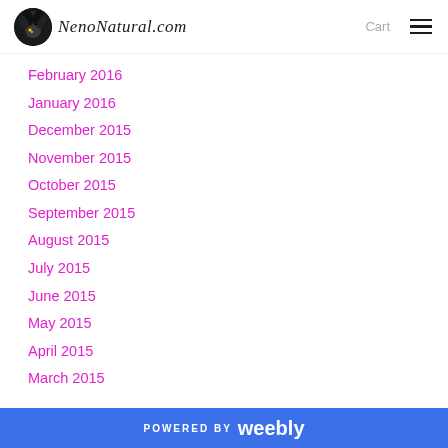NenoNatural.com  Cart
February 2016
January 2016
December 2015
November 2015
October 2015
September 2015
August 2015
July 2015
June 2015
May 2015
April 2015
March 2015
POWERED BY weebly